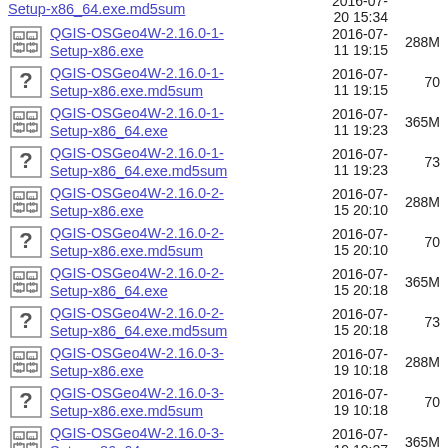Setup-x86_64.exe.md5sum | 2016-07-20 15:34 | (size)
QGIS-OSGeo4W-2.16.0-1-Setup-x86.exe | 2016-07-11 19:15 | 288M
QGIS-OSGeo4W-2.16.0-1-Setup-x86.exe.md5sum | 2016-07-11 19:15 | 70
QGIS-OSGeo4W-2.16.0-1-Setup-x86_64.exe | 2016-07-11 19:23 | 365M
QGIS-OSGeo4W-2.16.0-1-Setup-x86_64.exe.md5sum | 2016-07-11 19:23 | 73
QGIS-OSGeo4W-2.16.0-2-Setup-x86.exe | 2016-07-15 20:10 | 288M
QGIS-OSGeo4W-2.16.0-2-Setup-x86.exe.md5sum | 2016-07-15 20:10 | 70
QGIS-OSGeo4W-2.16.0-2-Setup-x86_64.exe | 2016-07-15 20:18 | 365M
QGIS-OSGeo4W-2.16.0-2-Setup-x86_64.exe.md5sum | 2016-07-15 20:18 | 73
QGIS-OSGeo4W-2.16.0-3-Setup-x86.exe | 2016-07-19 10:18 | 288M
QGIS-OSGeo4W-2.16.0-3-Setup-x86.exe.md5sum | 2016-07-19 10:18 | 70
QGIS-OSGeo4W-2.16.0-3-Setup-x86_64.exe | 2016-07-19 10:27 | 365M